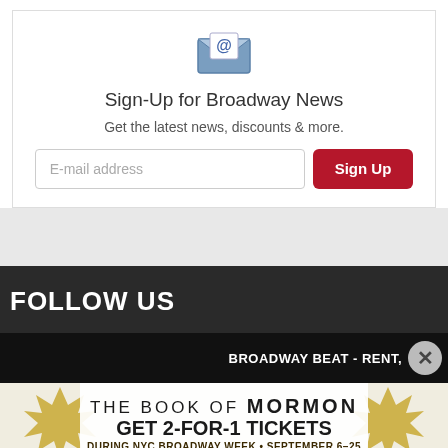[Figure (illustration): Email envelope icon with @ symbol]
Sign-Up for Broadway News
Get the latest news, discounts & more.
E-mail address  Sign Up
FOLLOW US
BROADWAY BEAT - RENT,
[Figure (infographic): The Book of Mormon advertisement: GET 2-FOR-1 TICKETS DURING NYC BROADWAY WEEK • SEPTEMBER 6-25 USE CODE BWAYWK GET TICKETS]